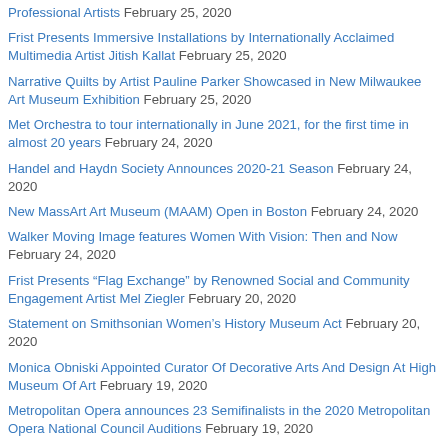Professional Artists February 25, 2020
Frist Presents Immersive Installations by Internationally Acclaimed Multimedia Artist Jitish Kallat February 25, 2020
Narrative Quilts by Artist Pauline Parker Showcased in New Milwaukee Art Museum Exhibition February 25, 2020
Met Orchestra to tour internationally in June 2021, for the first time in almost 20 years February 24, 2020
Handel and Haydn Society Announces 2020-21 Season February 24, 2020
New MassArt Art Museum (MAAM) Open in Boston February 24, 2020
Walker Moving Image features Women With Vision: Then and Now February 24, 2020
Frist Presents “Flag Exchange” by Renowned Social and Community Engagement Artist Mel Ziegler February 20, 2020
Statement on Smithsonian Women’s History Museum Act February 20, 2020
Monica Obniski Appointed Curator Of Decorative Arts And Design At High Museum Of Art February 19, 2020
Metropolitan Opera announces 23 Semifinalists in the 2020 Metropolitan Opera National Council Auditions February 19, 2020